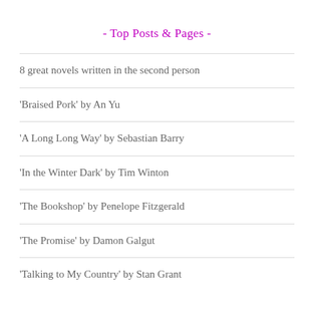- Top Posts & Pages -
8 great novels written in the second person
'Braised Pork' by An Yu
'A Long Long Way' by Sebastian Barry
'In the Winter Dark' by Tim Winton
'The Bookshop' by Penelope Fitzgerald
'The Promise' by Damon Galgut
'Talking to My Country' by Stan Grant